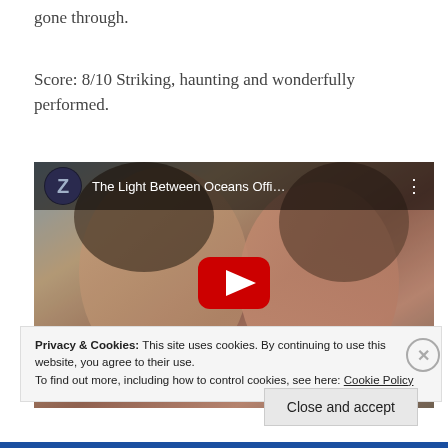gone through.
Score: 8/10 Striking, haunting and wonderfully performed.
[Figure (screenshot): YouTube embedded video thumbnail for 'The Light Between Oceans Offi...' showing a close-up of a man and woman nearly face to face, with a YouTube play button overlay, TRAILER text, and HD badge]
Privacy & Cookies: This site uses cookies. By continuing to use this website, you agree to their use.
To find out more, including how to control cookies, see here: Cookie Policy
Close and accept